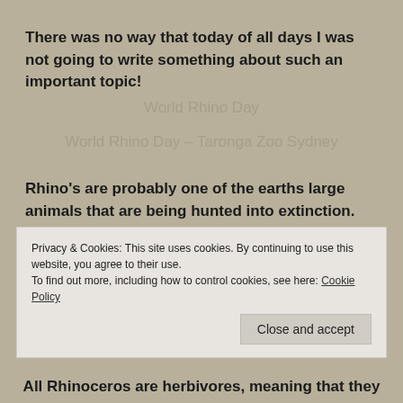There was no way that today of all days I was not going to write something about such an important topic!
World Rhino Day
World Rhino Day – Taronga Zoo Sydney
Rhino's are probably one of the earths large animals that are being hunted into extinction.
World Rhino Day was first planned by World Wildlife Fund-South Africa in 2010.  Then, in 2011,
Privacy & Cookies: This site uses cookies. By continuing to use this website, you agree to their use.
To find out more, including how to control cookies, see here: Cookie Policy
[Close and accept]
All Rhinoceros are herbivores, meaning that they